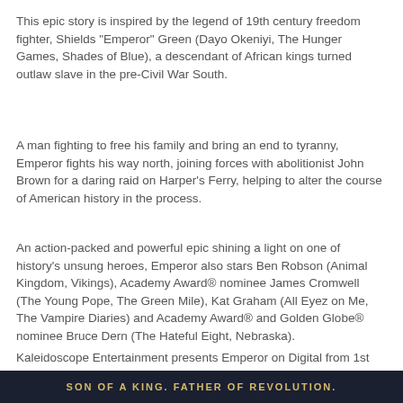This epic story is inspired by the legend of 19th century freedom fighter, Shields "Emperor" Green (Dayo Okeniyi, The Hunger Games, Shades of Blue), a descendant of African kings turned outlaw slave in the pre-Civil War South.
A man fighting to free his family and bring an end to tyranny, Emperor fights his way north, joining forces with abolitionist John Brown for a daring raid on Harper's Ferry, helping to alter the course of American history in the process.
An action-packed and powerful epic shining a light on one of history's unsung heroes, Emperor also stars Ben Robson (Animal Kingdom, Vikings), Academy Award® nominee James Cromwell (The Young Pope, The Green Mile), Kat Graham (All Eyez on Me, The Vampire Diaries) and Academy Award® and Golden Globe® nominee Bruce Dern (The Hateful Eight, Nebraska).
Kaleidoscope Entertainment presents Emperor on Digital from 1st March and DVD from 5th April
SON OF A KING. FATHER OF REVOLUTION.